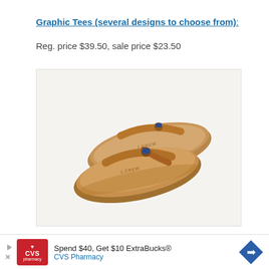Graphic Tees (several designs to choose from):
Reg. price $39.50, sale price $23.50
[Figure (photo): A pair of tan/brown leather flip-flop sandals with J.Crew branding, photographed on a light background.]
[Figure (infographic): CVS Pharmacy advertisement banner: 'Spend $40, Get $10 ExtraBucks® CVS Pharmacy']